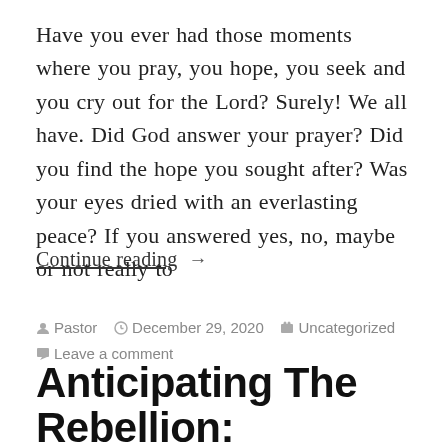Have you ever had those moments where you pray, you hope, you seek and you cry out for the Lord? Surely! We all have. Did God answer your prayer? Did you find the hope you sought after? Was your eyes dried with an everlasting peace? If you answered yes, no, maybe or not really to
Continue reading  →
Pastor  December 29, 2020  Uncategorized  Leave a comment
Anticipating The Rebellion: The Coming of a King